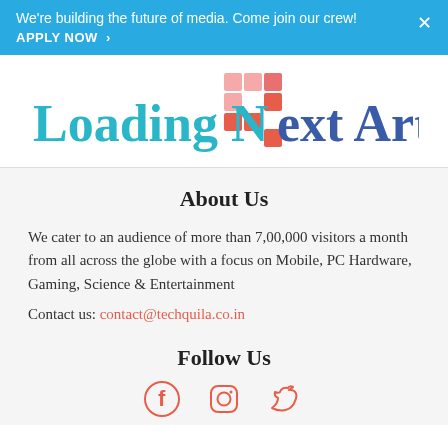We're building the future of media. Come join our crew! APPLY NOW >
[Figure (logo): Loading Next Article logo with teal text and colorful pixel grid icon replacing the 'x' in 'Next']
About Us
We cater to an audience of more than 7,00,000 visitors a month from all across the globe with a focus on Mobile, PC Hardware, Gaming, Science & Entertainment
Contact us: contact@techquila.co.in
Follow Us
[Figure (other): Social media icons: Facebook, Instagram, Twitter]